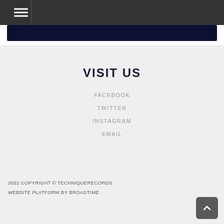☰ (menu icon)
VISIT US
FACEBOOK
TWITTER
INSTAGRAM
EMAIL
2022 COPYRIGHT © TECHNIQUERECORDS
WEBSITE PLATFORM BY BROADTIME